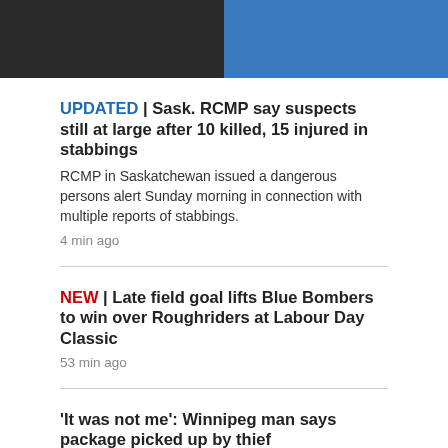[Figure (photo): Two headshot photos side by side: left person in black shirt, right person in blue shirt]
UPDATED | Sask. RCMP say suspects still at large after 10 killed, 15 injured in stabbings
RCMP in Saskatchewan issued a dangerous persons alert Sunday morning in connection with multiple reports of stabbings.
4 min ago
NEW | Late field goal lifts Blue Bombers to win over Roughriders at Labour Day Classic
53 min ago
'It was not me': Winnipeg man says package picked up by thief
3 hr ago